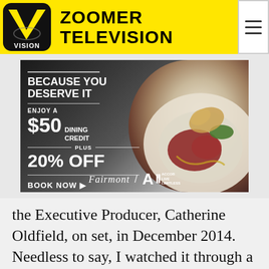ZOOMER TELEVISION
[Figure (photo): Fairmont hotel advertisement banner: 'BECAUSE YOU DESERVE IT – ENJOY A $50 DINING CREDIT PLUS 20% OFF – BOOK NOW' with food photo and Fairmont / ALL Accor Live Limitless logos]
the Executive Producer, Catherine Oldfield, on set, in December 2014. Needless to say, I watched it through a